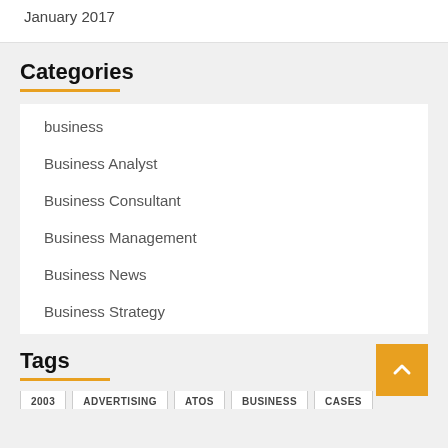January 2017
Categories
business
Business Analyst
Business Consultant
Business Management
Business News
Business Strategy
Tags
2003
ADVERTISING
ATOS
BUSINESS
CASES